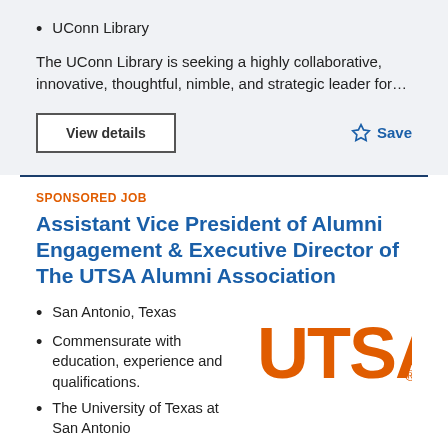UConn Library
The UConn Library is seeking a highly collaborative, innovative, thoughtful, nimble, and strategic leader for…
View details
☆ Save
SPONSORED JOB
Assistant Vice President of Alumni Engagement & Executive Director of The UTSA Alumni Association
San Antonio, Texas
Commensurate with education, experience and qualifications.
[Figure (logo): UTSA orange bold logo text]
The University of Texas at San Antonio
The University of Texas at San Antonio d…